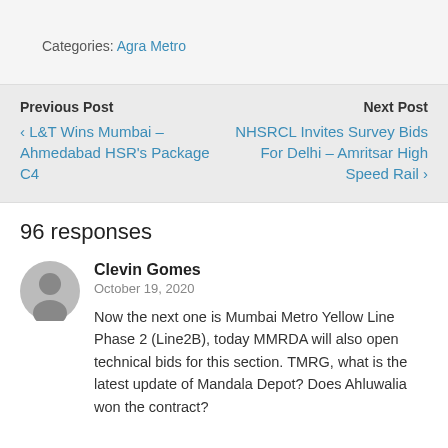Categories: Agra Metro
Previous Post
‹ L&T Wins Mumbai – Ahmedabad HSR's Package C4
Next Post
NHSRCL Invites Survey Bids For Delhi – Amritsar High Speed Rail ›
96 responses
Clevin Gomes
October 19, 2020
Now the next one is Mumbai Metro Yellow Line Phase 2 (Line2B), today MMRDA will also open technical bids for this section. TMRG, what is the latest update of Mandala Depot? Does Ahluwalia won the contract?